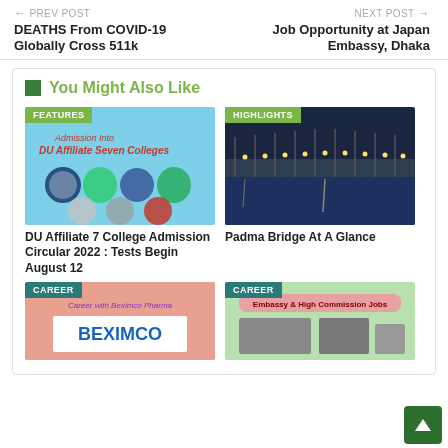← PREV POST | NEXT POST →
DEATHS From COVID-19 Globally Cross 511k
Job Opportunity at Japan Embassy, Dhaka
You Might Also Like
[Figure (photo): FEATURES badge over image showing DU Affiliate Seven Colleges logos on blue background]
DU Affiliate 7 College Admission Circular 2022 : Tests Begin August 12
[Figure (photo): HIGHLIGHTS badge over photo of Padma Bridge at night with lights]
Padma Bridge At A Glance
[Figure (photo): CAREER badge over pink background with Career with Beximco Pharma and BEXIMCO logo]
[Figure (photo): CAREER badge over green background with Embassy & High Commission Jobs text and building photos]